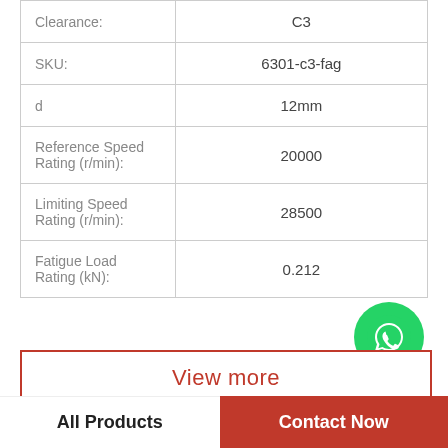| Property | Value |
| --- | --- |
| Clearance: | C3 |
| SKU: | 6301-c3-fag |
| d | 12mm |
| Reference Speed Rating (r/min): | 20000 |
| Limiting Speed Rating (r/min): | 28500 |
| Fatigue Load Rating (kN): | 0.212 |
[Figure (logo): WhatsApp Online green phone icon with italic bold text 'WhatsApp Online' below]
View more
All Products | Contact Now